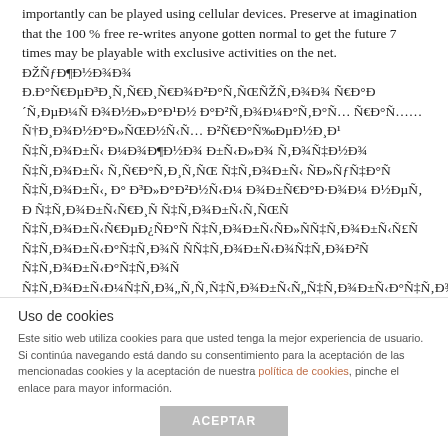importantly can be played using cellular devices. Preserve at imagination that the 100 % free re-writes anyone gotten normal to get the future 7 times may be playable with exclusive activities on the net. ÐŽÑƒÐ¶Ð½Ð¾Ð¾ Ð.Ð°Ñ€ÐµÐ³Ð¸Ñ‚Ñ€Ð¸Ñ€Ð¾Ð²Ð°Ñ‚ÑŒÑŽÑ‚Ð¾Ð¾ Ñ€Ð°Ð´Ñ‚ÐµÐ¼Ñ Ð¾Ð½Ð»Ð°Ð¹Ð½ Ð°Ð²Ñ‚Ð¾Ð¼Ð°Ñ‚Ð°Ñ… Ñ€Ð°Ñ……
At the top rated Australian cellular casinos you'll appreciate image wealthy video games that are radiant and user-friendly,
Uso de cookies
Este sitio web utiliza cookies para que usted tenga la mejor experiencia de usuario. Si continúa navegando está dando su consentimiento para la aceptación de las mencionadas cookies y la aceptación de nuestra política de cookies, pinche el enlace para mayor información.